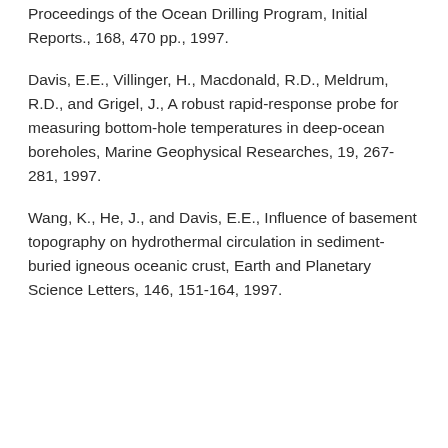Proceedings of the Ocean Drilling Program, Initial Reports., 168, 470 pp., 1997.
Davis, E.E., Villinger, H., Macdonald, R.D., Meldrum, R.D., and Grigel, J., A robust rapid-response probe for measuring bottom-hole temperatures in deep-ocean boreholes, Marine Geophysical Researches, 19, 267-281, 1997.
Wang, K., He, J., and Davis, E.E., Influence of basement topography on hydrothermal circulation in sediment-buried igneous oceanic crust, Earth and Planetary Science Letters, 146, 151-164, 1997.